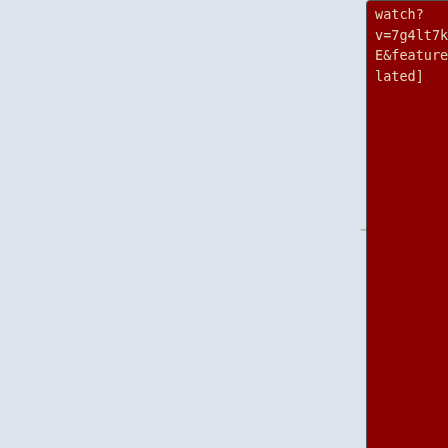watch?v=7g4lt7keEeE&feature=related]
watch?v=7g4lt7keEeE&feature=related (Portugues) Brazilian News on YouTube showing birth certificate, interview on 129th birthday]
* [http://www.youtube.com/watch?v=x4GE1rnOloA]
* [http://www.youtube.com/watch?v=x4GE1rnOloA (Portugues) Brazilian